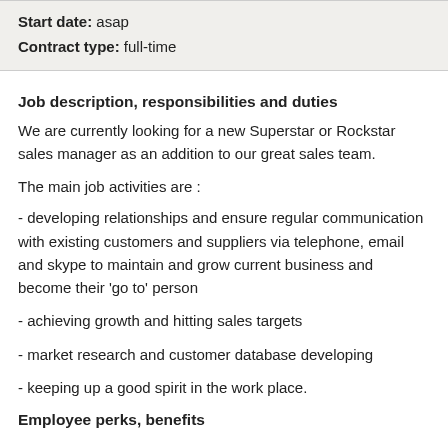Start date: asap
Contract type: full-time
Job description, responsibilities and duties
We are currently looking for a new Superstar or Rockstar sales manager as an addition to our great sales team.
The main job activities are :
- developing relationships and ensure regular communication with existing customers and suppliers via telephone, email and skype to maintain and grow current business and become their 'go to' person
- achieving growth and hitting sales targets
- market research and customer database developing
- keeping up a good spirit in the work place.
Employee perks, benefits